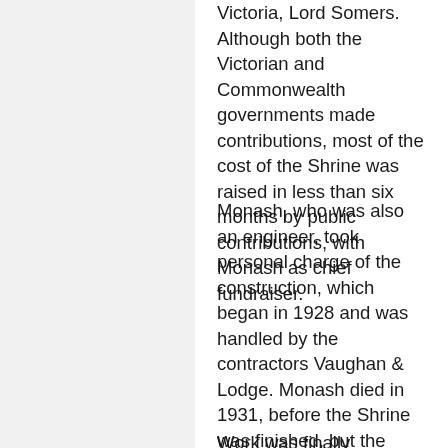Victoria, Lord Somers. Although both the Victorian and Commonwealth governments made contributions, most of the cost of the Shrine was raised in less than six months by public contributions, with Monash as chief fundraiser.
Monash, who was also an engineer, took personal charge of the construction, which began in 1928 and was handled by the contractors Vaughan & Lodge. Monash died in 1931, before the Shrine was finished, but the Shrine was the cause “closest to his heart” in his later years.
Work was finally completed in September 1934, and the Shrine